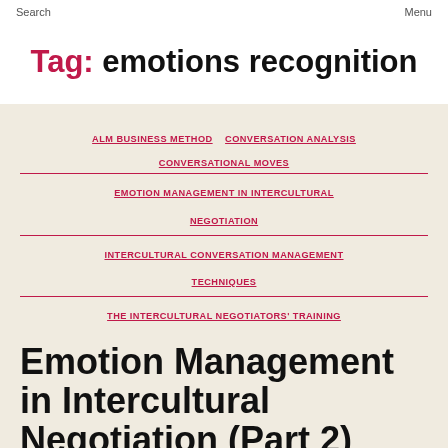Search    Menu
Tag: emotions recognition
ALM BUSINESS METHOD
CONVERSATION ANALYSIS
CONVERSATIONAL MOVES
EMOTION MANAGEMENT IN INTERCULTURAL NEGOTIATION
INTERCULTURAL CONVERSATION MANAGEMENT TECHNIQUES
THE INTERCULTURAL NEGOTIATORS' TRAINING
Emotion Management in Intercultural Negotiation (Part 2)